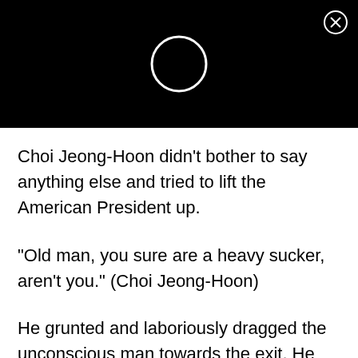[Figure (illustration): Black header bar with a white outlined circle (loading spinner) in the center and a close (X) button in the top-right corner]
Choi Jeong-Hoon didn't bother to say anything else and tried to lift the American President up.
“Old man, you sure are a heavy sucker, aren’t you.” (Choi Jeong-Hoon)
He grunted and laboriously dragged the unconscious man towards the exit. He managed to...